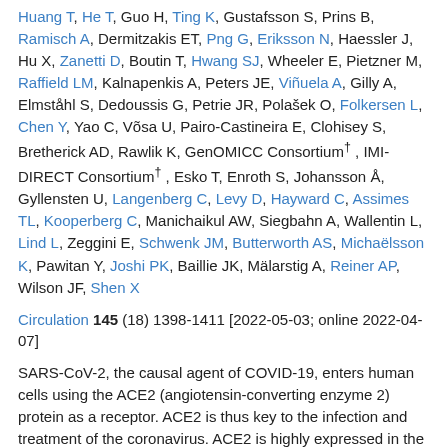Huang T, He T, Guo H, Ting K, Gustafsson S, Prins B, Ramisch A, Dermitzakis ET, Png G, Eriksson N, Haessler J, Hu X, Zanetti D, Boutin T, Hwang SJ, Wheeler E, Pietzner M, Raffield LM, Kalnapenkis A, Peters JE, Viñuela A, Gilly A, Elmståhl S, Dedoussis G, Petrie JR, Polašek O, Folkersen L, Chen Y, Yao C, Võsa U, Pairo-Castineira E, Clohisey S, Bretherick AD, Rawlik K, GenOMICC Consortium†, IMI-DIRECT Consortium†, Esko T, Enroth S, Johansson Å, Gyllensten U, Langenberg C, Levy D, Hayward C, Assimes TL, Kooperberg C, Manichaikul AW, Siegbahn A, Wallentin L, Lind L, Zeggini E, Schwenk JM, Butterworth AS, Michaëlsson K, Pawitan Y, Joshi PK, Baillie JK, Mälarstig A, Reiner AP, Wilson JF, Shen X
Circulation 145 (18) 1398-1411 [2022-05-03; online 2022-04-07]
SARS-CoV-2, the causal agent of COVID-19, enters human cells using the ACE2 (angiotensin-converting enzyme 2) protein as a receptor. ACE2 is thus key to the infection and treatment of the coronavirus. ACE2 is highly expressed in the heart and respiratory and gastrointestinal tracts, playing important regulatory roles in the cardiovascular and other biological systems. However, the genetic